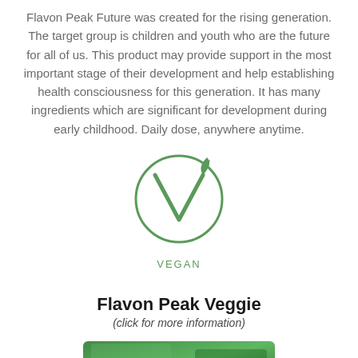Flavon Peak Future was created for the rising generation. The target group is children and youth who are the future for all of us. This product may provide support in the most important stage of their development and help establishing health consciousness for this generation. It has many ingredients which are significant for development during early childhood. Daily dose, anywhere anytime.
[Figure (logo): Vegan logo: a green circle with a stylized letter V and a leaf, with the word VEGAN below in green spaced letters.]
Flavon Peak Veggie
(click for more information)
[Figure (photo): Partial view of a green product package for Flavon Peak Veggie, cropped at the bottom of the page.]